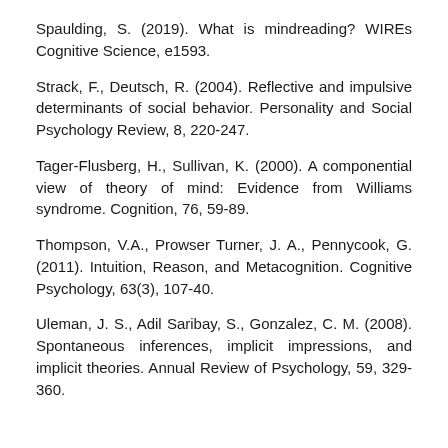Spaulding, S. (2019). What is mindreading? WIREs Cognitive Science, e1593.
Strack, F., Deutsch, R. (2004). Reflective and impulsive determinants of social behavior. Personality and Social Psychology Review, 8, 220-247.
Tager-Flusberg, H., Sullivan, K. (2000). A componential view of theory of mind: Evidence from Williams syndrome. Cognition, 76, 59-89.
Thompson, V.A., Prowser Turner, J. A., Pennycook, G. (2011). Intuition, Reason, and Metacognition. Cognitive Psychology, 63(3), 107-40.
Uleman, J. S., Adil Saribay, S., Gonzalez, C. M. (2008). Spontaneous inferences, implicit impressions, and implicit theories. Annual Review of Psychology, 59, 329-360.